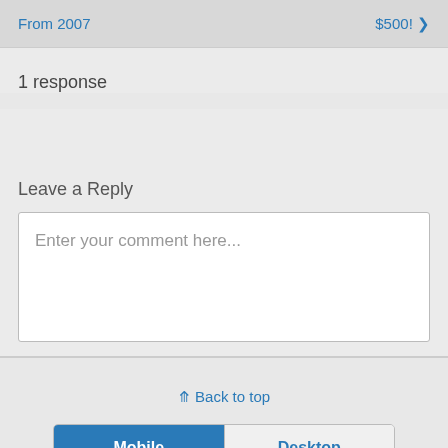From 2007   $500!
1 response
Leave a Reply
Enter your comment here...
Back to top
Mobile   Desktop